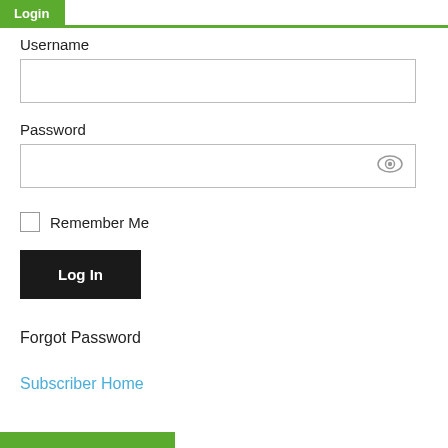Login
Username
[Figure (screenshot): Empty username text input field]
Password
[Figure (screenshot): Empty password text input field with eye icon for show/hide password]
Remember Me
Log In
Forgot Password
Subscriber Home